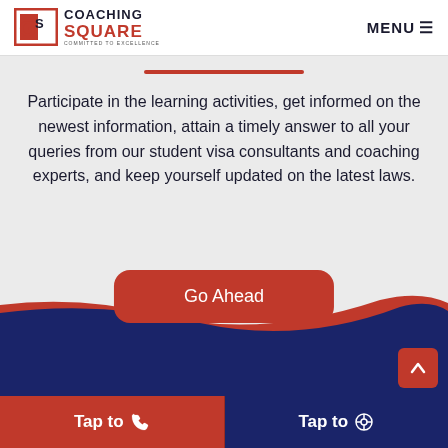Coaching Square — COMMITTED TO EXCELLENCE | MENU
Participate in the learning activities, get informed on the newest information, attain a timely answer to all your queries from our student visa consultants and coaching experts, and keep yourself updated on the latest laws.
Go Ahead
Tap to 📞
Tap to 💬